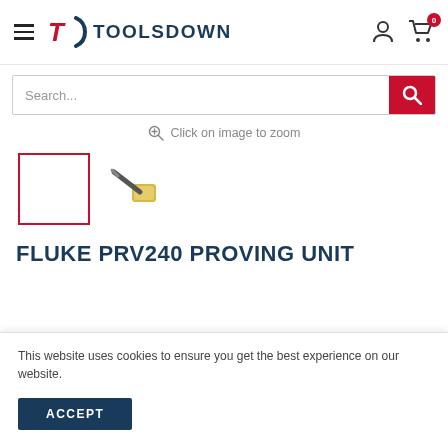TOOLSDOWN
Search...
Click on image to zoom
[Figure (photo): Small thumbnail image of Fluke PRV240 proving unit tool, yellowish/beige colored device with a dark handle/probe]
FLUKE PRV240 PROVING UNIT
This website uses cookies to ensure you get the best experience on our website.
ACCEPT